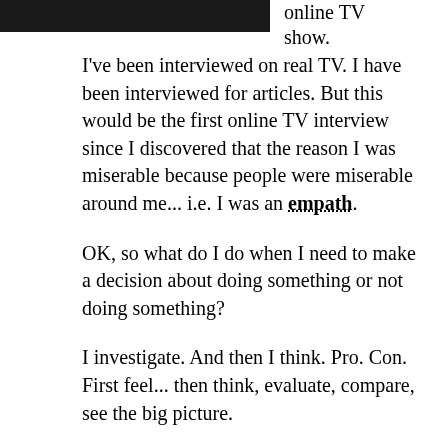[Figure (photo): Partial photo of a person in a suit and blue tie, cropped at the bottom edge of the image strip]
online TV show.
I've been interviewed on real TV. I have been interviewed for articles. But this would be the first online TV interview since I discovered that the reason I was miserable because people were miserable around me... i.e. I was an empath.
OK, so what do I do when I need to make a decision about doing something or not doing something?
I investigate. And then I think. Pro. Con. First feel... then think, evaluate, compare, see the big picture.